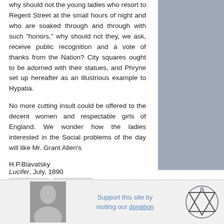why should not the young ladies who resort to Regent Street at the small hours of night and who are soaked through and through with such "honors," why should not they, we ask, receive public recognition and a vote of thanks from the Nation? City squares ought to be adorned with their statues, and Phryne set up hereafter as an illustrious example to Hypatia.
No more cutting insult could be offered to the decent women and respectable girls of England. We wonder how the ladies interested in the Social problems of the day will like Mr. Grant Allen's
H.P.Blavatsky
Lucifer, July, 1890
[Figure (photo): Gray sidebar/sidebar column placeholder]
Prev  Next
[Figure (photo): Portrait photo of H.P. Blavatsky in bottom footer]
Support this site by visiting our donation
[Figure (illustration): Theosophical symbol - triangle within circle]